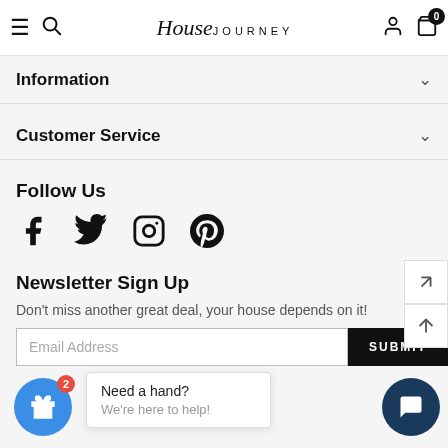House JOURNEY
Information
Customer Service
Follow Us
[Figure (other): Social media icons: Facebook, Twitter, Instagram, Pinterest]
Newsletter Sign Up
Don't miss another great deal, your house depends on it!
Email Address
SUBMIT
Need a hand? We're here to help!